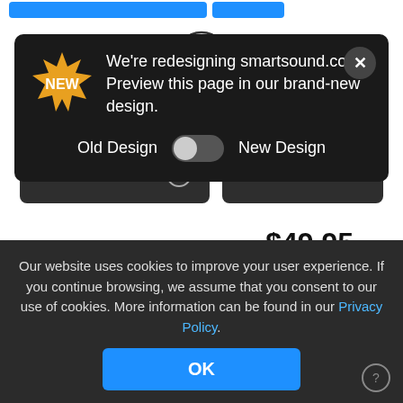[Figure (screenshot): Top partial blue buttons bar from website]
[Figure (screenshot): Play button circle with triangle in center]
Genre: EDM
Customize Track
More Information
$49.95
[Figure (screenshot): Redesign banner popup: We're redesigning smartsound.com. Preview this page in our brand-new design. Old Design [toggle] New Design]
We're redesigning smartsound.com. Preview this page in our brand-new design.
Old Design
New Design
Our website uses cookies to improve your user experience. If you continue browsing, we assume that you consent to our use of cookies. More information can be found in our Privacy Policy.
OK